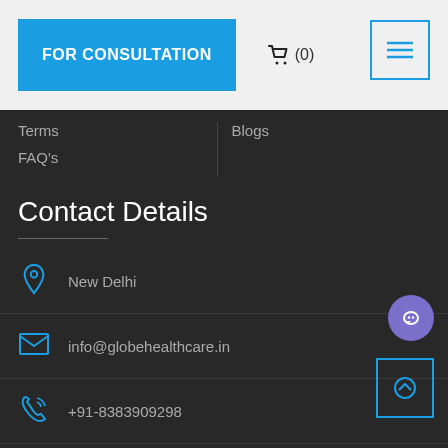FOR CONSULTATION
🛒 (0)
Terms
Blogs
FAQ's
Contact Details
New Delhi
info@globehealthcare.in
+91-8383909298